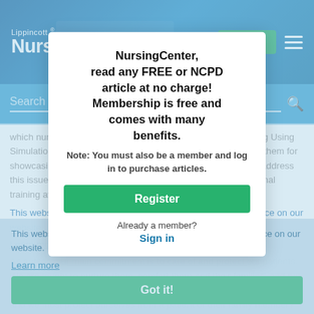Lippincott® NursingCenter®
Search ...
which nurses face too frequently ("Workplace Violence Training Using Simulation," Cultivating Quality, October). I also want to thank them for showcasing the hands-on education that is greatly needed to address this issue. I would like to propose that they make this educational training available nationwide.
This website uses cookies to ensure you get the best experience on our website.
Learn more
As nurses, our main commitment is to care of and protect our patients. We are taught to nurture them, comfort them and their families, and put their well-being above our own. What happens when the tables turn, and we must protect ourselves from a patient or their family member? How do we ensure our
Got it!
NursingCenter, read any FREE or NCPD article at no charge! Membership is free and comes with many benefits.
Note: You must also be a member and log in to purchase articles.
Register
Already a member?
Sign in